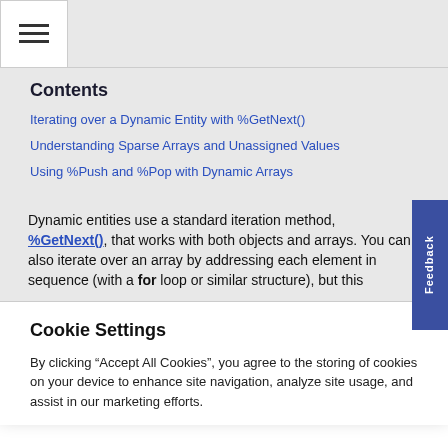Contents
Iterating over a Dynamic Entity with %GetNext()
Understanding Sparse Arrays and Unassigned Values
Using %Push and %Pop with Dynamic Arrays
Dynamic entities use a standard iteration method, %GetNext(), that works with both objects and arrays. You can also iterate over an array by addressing each element in sequence (with a for loop or similar structure), but this
Cookie Settings
By clicking “Accept All Cookies”, you agree to the storing of cookies on your device to enhance site navigation, analyze site usage, and assist in our marketing efforts.